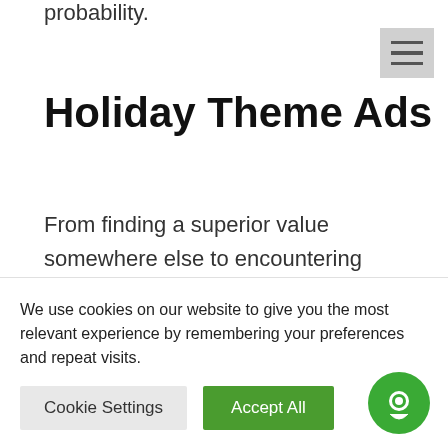probability.
Holiday Theme Ads
From finding a superior value somewhere else to encountering surprising expenses at checkout, there are many elements that can lead a client to abandon their carefully stacked shopping baskets.
Clients don't generally finish their buys and
We use cookies on our website to give you the most relevant experience by remembering your preferences and repeat visits.